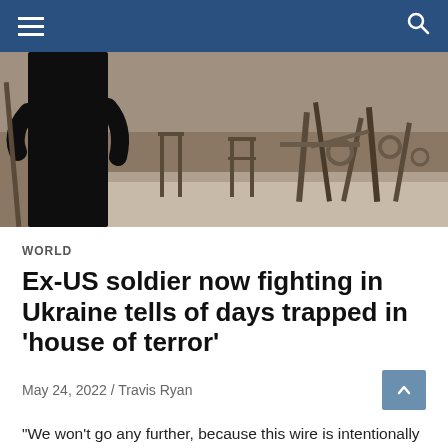Navigation bar with hamburger menu and search icon
[Figure (photo): A person in dark clothing standing amid destroyed and rusted metal debris, war damage scene]
WORLD
Ex-US soldier now fighting in Ukraine tells of days trapped in 'house of terror'
May 24, 2022 / Travis Ryan
"We won't go any further, because this wire is intentionally attached to something and then buried here," he warns. "A lot of Russians went back through some of these places and re-mined them [in] Booby traps".